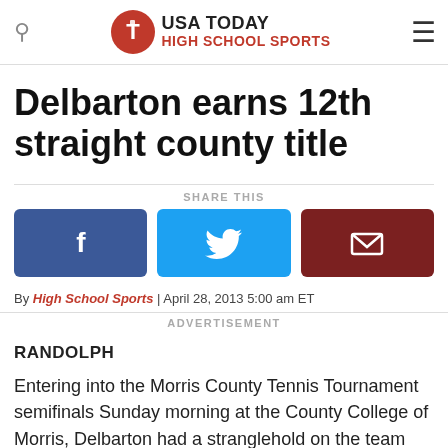USA TODAY HIGH SCHOOL SPORTS
Delbarton earns 12th straight county title
SHARE THIS
[Figure (other): Social share buttons: Facebook, Twitter, Email]
By High School Sports | April 28, 2013 5:00 am ET
ADVERTISEMENT
RANDOLPH
Entering into the Morris County Tennis Tournament semifinals Sunday morning at the County College of Morris, Delbarton had a stranglehold on the team title